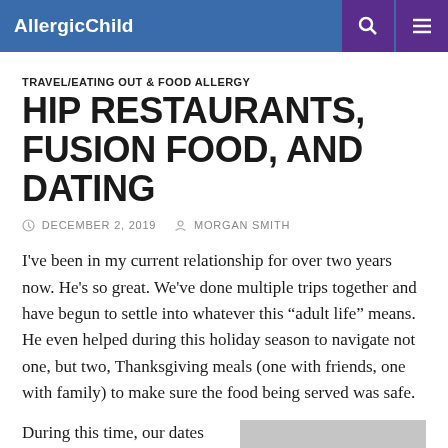AllergicChild
TRAVEL/EATING OUT & FOOD ALLERGY
HIP RESTAURANTS, FUSION FOOD, AND DATING
DECEMBER 2, 2019   MORGAN SMITH
I've been in my current relationship for over two years now. He's so great. We've done multiple trips together and have begun to settle into whatever this “adult life” means. He even helped during this holiday season to navigate not one, but two, Thanksgiving meals (one with friends, one with family) to make sure the food being served was safe.
During this time, our dates